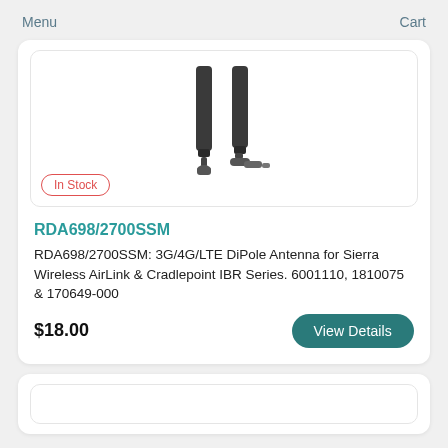Menu    Cart
[Figure (photo): Two black dipole antennas — one straight, one with an angled base connector — shown side by side on white background]
In Stock
RDA698/2700SSM
RDA698/2700SSM: 3G/4G/LTE DiPole Antenna for Sierra Wireless AirLink & Cradlepoint IBR Series. 6001110, 1810075 & 170649-000
$18.00
View Details